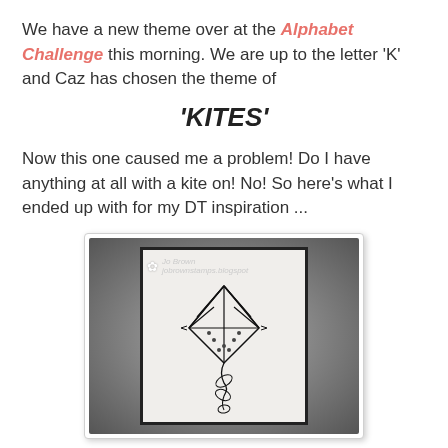We have a new theme over at the Alphabet Challenge this morning. We are up to the letter 'K' and Caz has chosen the theme of
'KITES'
Now this one caused me a problem! Do I have anything at all with a kite on! No! So here's what I ended up with for my DT inspiration ...
[Figure (photo): A handmade card featuring a zentangle-style kite drawing in black ink on white/cream paper, mounted on a black mat inside a framed card. A watermark reads 'Jo Brown' with a website below. The background of the card photo is dark grey with vignetting.]